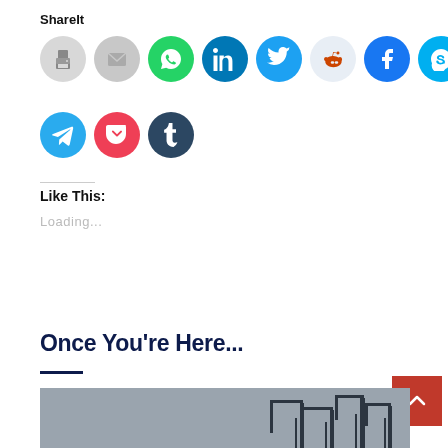ShareIt
[Figure (infographic): Row of social sharing icon circles: print (grey), email (grey), WhatsApp (green), LinkedIn (dark teal), Twitter (blue), Reddit (light blue), Facebook (blue), Skype (cyan), Pinterest (red)]
[Figure (infographic): Second row of social sharing icon circles: Telegram (cyan/blue), Pocket (red/pink), Tumblr (dark navy)]
Like This:
Loading...
#Oil
Once You're Here...
[Figure (photo): Partial view of a grey industrial harbor/port scene with cranes silhouetted in the lower right area]